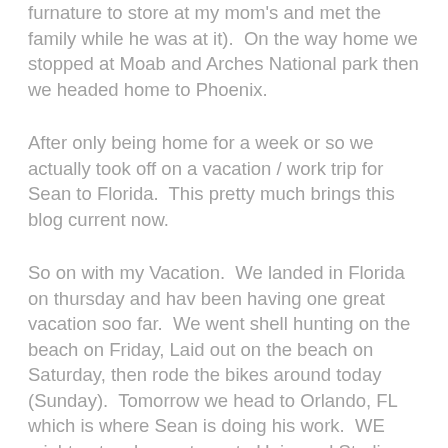furnature to store at my mom's and met the family while he was at it).  On the way home we stopped at Moab and Arches National park then we headed home to Phoenix.
After only being home for a week or so we actually took off on a vacation / work trip for Sean to Florida.  This pretty much brings this blog current now.
So on with my Vacation.  We landed in Florida on thursday and hav been having one great vacation soo far.  We went shell hunting on the beach on Friday, Laid out on the beach on Saturday, then rode the bikes around today (Sunday).  Tomorrow we head to Orlando, FL which is where Sean is doing his work.  WE might get a chance to go to Universal Studios.  I'll update this post at a later time and put